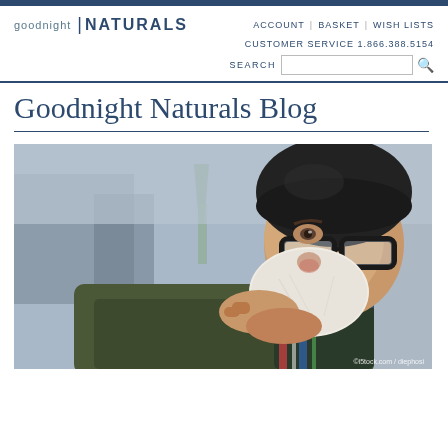goodnight NATURALS | ACCOUNT | BASKET | WISH LISTS | CUSTOMER SERVICE 1.866.388.5154
Goodnight Naturals Blog
[Figure (photo): Man wearing black beanie hat and thick-rimmed glasses blowing his nose into a tissue outdoors in winter, wearing a plaid scarf and olive jacket. Watermark: ©i5tock.com / diephosi]